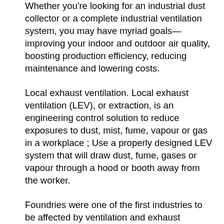Whether you're looking for an industrial dust collector or a complete industrial ventilation system, you may have myriad goals—improving your indoor and outdoor air quality, boosting production efficiency, reducing maintenance and lowering costs.
Local exhaust ventilation. Local exhaust ventilation (LEV), or extraction, is an engineering control solution to reduce exposures to dust, mist, fume, vapour or gas in a workplace ; Use a properly designed LEV system that will draw dust, fume, gases or vapour through a hood or booth away from the worker.
Foundries were one of the first industries to be affected by ventilation and exhaust standards. Harmful levels of pollutants that come from foundry projects need to have highly efficient dust, fume and smoke collection equipment installed to evacuate these chemicals.
Industrial ventilation, dust collection, fume exhaust, odor control, people cooling, process ventilation, corrosive and explosive application. Ventilation Specialists provides technical assistance, design